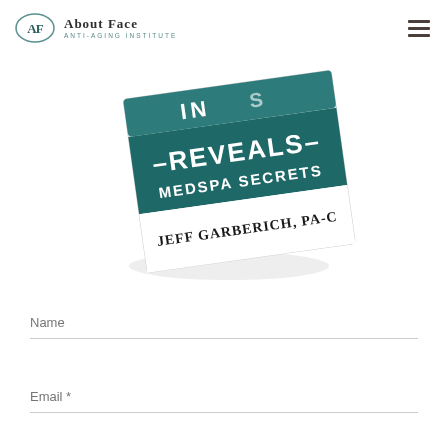[Figure (logo): About Face Anti-Aging Institute logo with AF oval emblem and text]
[Figure (photo): Book cover showing 'REVEALS MEDSPA SECRETS' by Jeff Garberich PA-C on teal/dark green background, angled view]
Name
Email *